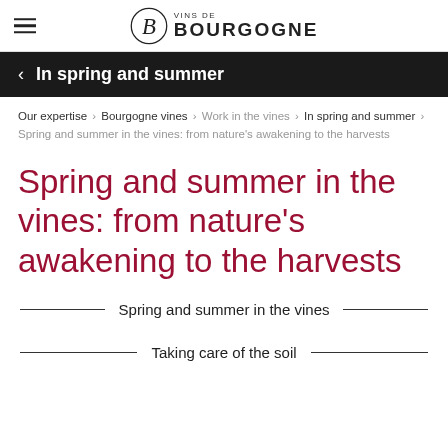[Figure (logo): Vins de Bourgogne logo with stylized B in a circle and brand name text]
In spring and summer
Our expertise › Bourgogne vines › Work in the vines › In spring and summer › Spring and summer in the vines: from nature's awakening to the harvests
Spring and summer in the vines: from nature's awakening to the harvests
Spring and summer in the vines
Taking care of the soil